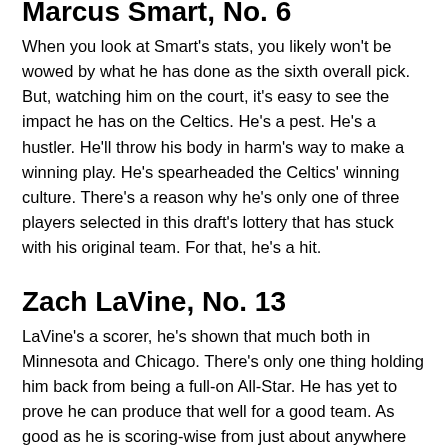Marcus Smart, No. 6
When you look at Smart's stats, you likely won't be wowed by what he has done as the sixth overall pick. But, watching him on the court, it's easy to see the impact he has on the Celtics. He's a pest. He's a hustler. He'll throw his body in harm's way to make a winning play. He's spearheaded the Celtics' winning culture. There's a reason why he's only one of three players selected in this draft's lottery that has stuck with his original team. For that, he's a hit.
Zach LaVine, No. 13
LaVine's a scorer, he's shown that much both in Minnesota and Chicago. There's only one thing holding him back from being a full-on All-Star. He has yet to prove he can produce that well for a good team. As good as he is scoring-wise from just about anywhere on the court, his defense